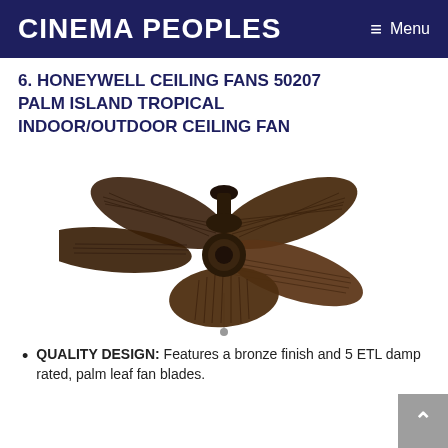Cinema Peoples
6. HONEYWELL CEILING FANS 50207 PALM ISLAND TROPICAL INDOOR/OUTDOOR CEILING FAN
[Figure (photo): Honeywell 50207 Palm Island ceiling fan with bronze finish and 5 palm-leaf shaped blades, shown with pull chain hanging down.]
QUALITY DESIGN: Features a bronze finish and 5 ETL damp rated, palm leaf fan blades.